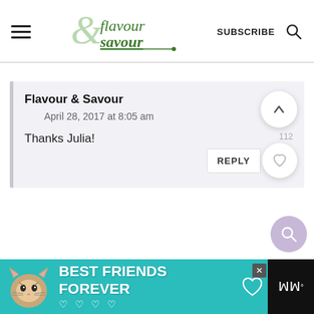[Figure (logo): Flavour & Savour website logo with ampersand and stylized text]
SUBSCRIBE
Flavour & Savour
April 28, 2017 at 8:05 am
Thanks Julia!
REPLY
[Figure (illustration): Advertisement banner: Best Friends Forever with cat illustration]